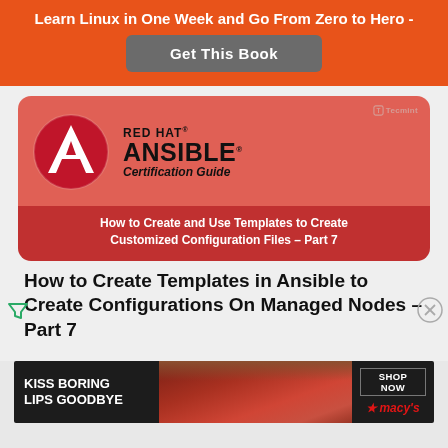Learn Linux in One Week and Go From Zero to Hero -
Get This Book
[Figure (illustration): Red Hat Ansible Certification Guide book cover image with Ansible logo (red circle with white A), title text, and subtitle: How to Create and Use Templates to Create Customized Configuration Files – Part 7]
How to Create Templates in Ansible to Create Configurations On Managed Nodes – Part 7
[Figure (photo): Macy's advertisement banner: woman with red lips, text KISS BORING LIPS GOODBYE, SHOP NOW, Macy's logo]